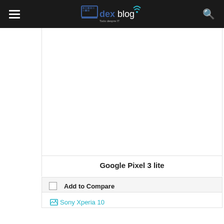dexblog — navigation bar with hamburger menu and search icon
[Figure (other): Empty white image area for Google Pixel 3 lite product card]
Google Pixel 3 lite
Add to Compare
[Figure (other): Broken image placeholder for Sony Xperia 10]
Sony Xperia 10